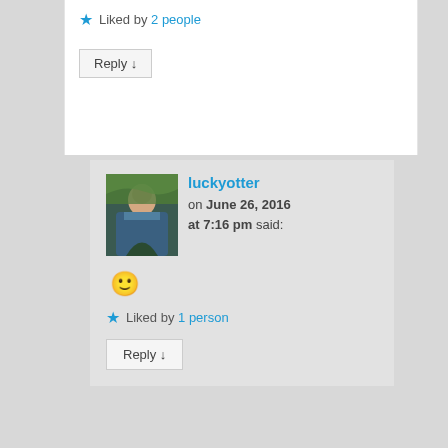★ Liked by 2 people
Reply ↓
luckyotter on June 26, 2016 at 7:16 pm said:
🙂
★ Liked by 1 person
Reply ↓
[Figure (photo): Avatar photo of luckyotter - person in blue standing outdoors among trees]
nikitalondon on June 26, 2016 at
[Figure (photo): Photo of a latte coffee with leaf art in a white cup on a dark marble surface]